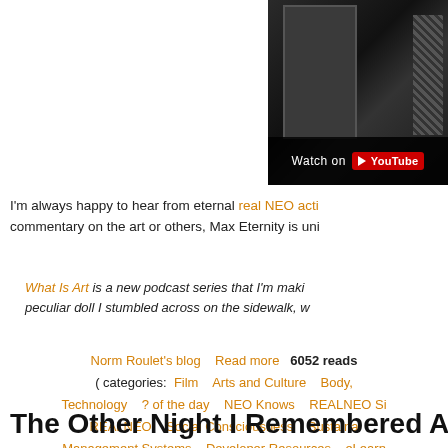[Figure (screenshot): YouTube video thumbnail showing a dark scene with a door shape and figure, with 'Watch on YouTube' bar at bottom]
I'm always happy to hear from eternal real NEO acti... commentary on the art or others, Max Eternity is uni...
What Is Art is a new podcast series that I'm maki... peculiar doll I stumbled across on the sidewalk, w...
Norm Roulet's blog    Read more    6052 reads
( categories:  Film    Arts and Culture    Body,...
Technology    ? of the day    NEO Knows    REALNEO Si...
REALNEO    Social Consciousness    Sustaina...
Management Systems    Developer Resources    eLearn...
The Other Night I Remembered A